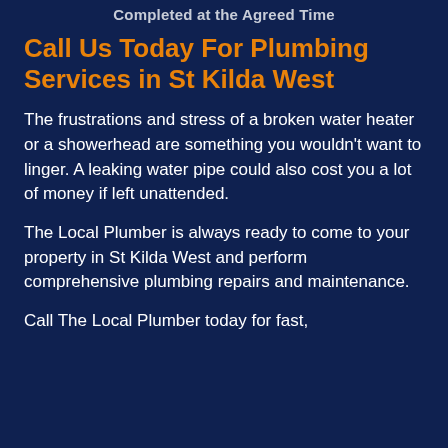Completed at the Agreed Time
Call Us Today For Plumbing Services in St Kilda West
The frustrations and stress of a broken water heater or a showerhead are something you wouldn't want to linger. A leaking water pipe could also cost you a lot of money if left unattended.
The Local Plumber is always ready to come to your property in St Kilda West and perform comprehensive plumbing repairs and maintenance.
Call The Local Plumber today for fast,